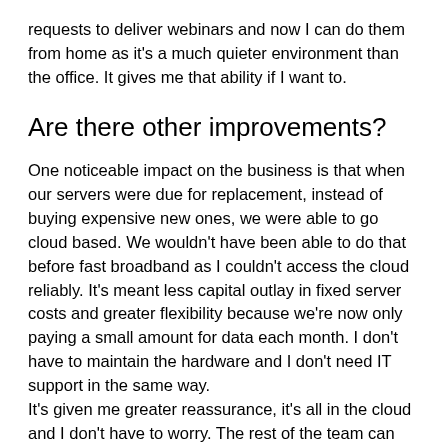requests to deliver webinars and now I can do them from home as it's a much quieter environment than the office. It gives me that ability if I want to.
Are there other improvements?
One noticeable impact on the business is that when our servers were due for replacement, instead of buying expensive new ones, we were able to go cloud based. We wouldn't have been able to do that before fast broadband as I couldn't access the cloud reliably. It's meant less capital outlay in fixed server costs and greater flexibility because we're now only paying a small amount for data each month. I don't have to maintain the hardware and I don't need IT support in the same way.
It's given me greater reassurance, it's all in the cloud and I don't have to worry. The rest of the team can also work remotely too which gives us greater overall